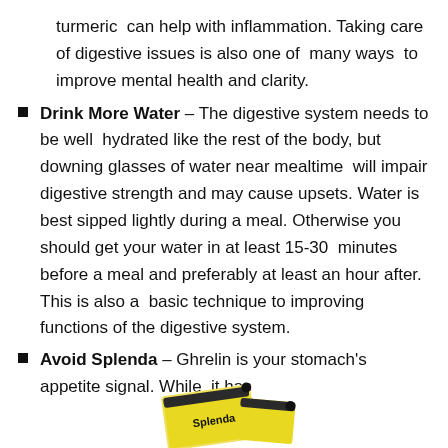turmeric can help with inflammation. Taking care of digestive issues is also one of many ways to improve mental health and clarity.
Drink More Water – The digestive system needs to be well hydrated like the rest of the body, but downing glasses of water near mealtime will impair digestive strength and may cause upsets. Water is best sipped lightly during a meal. Otherwise you should get your water in at least 15-30 minutes before a meal and preferably at least an hour after. This is also a basic technique to improving functions of the digestive system.
Avoid Splenda – Ghrelin is your stomach's appetite signal. While it has
[Figure (photo): Partial image of a Splenda packet at the bottom of the page]